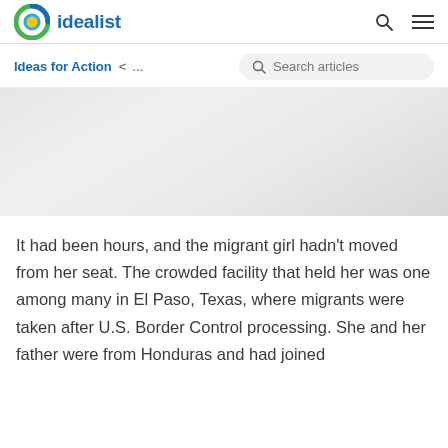idealist
[Figure (photo): A blurred/placeholder hero image with a light gray gradient background, representing a migrant detention facility or related scene.]
Ideas for Action  <  ...
It had been hours, and the migrant girl hadn't moved from her seat. The crowded facility that held her was one among many in El Paso, Texas, where migrants were taken after U.S. Border Control processing. She and her father were from Honduras and had joined